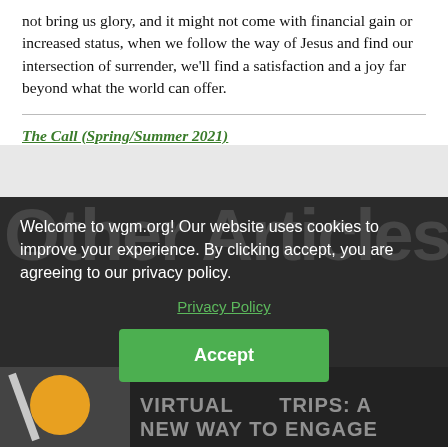not bring us glory, and it might not come with financial gain or increased status, when we follow the way of Jesus and find our intersection of surrender, we'll find a satisfaction and a joy far beyond what the world can offer.
The Call (Spring/Summer 2021)
Welcome to wgm.org! Our website uses cookies to improve your experience. By clicking accept, you are agreeing to our privacy policy.
Privacy Policy
Accept
VIRTUAL TRIPS: A NEW WAY TO ENGAGE